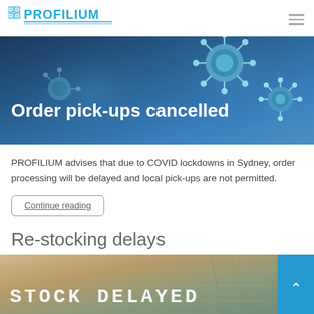PROFILIUM (logo)
[Figure (photo): Hero banner with dark blue background showing coronavirus particles and text 'Order pick-ups cancelled' in white bold font]
PROFILIUM advises that due to COVID lockdowns in Sydney, order processing will be delayed and local pick-ups are not permitted.
Continue reading
Re-stocking delays
[Figure (photo): Banner showing a ship in a canal with text 'STOCK DELAYED' in large white stencil font over a wooden/beige background, with a blue 'back to top' button on the right]